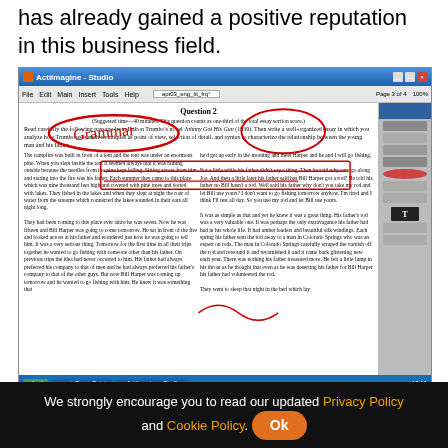has already gained a positive reputation in this business field.
[Figure (screenshot): Screenshot of Actiimagine Studio software showing an AP Literature exam Question 2 about a passage from Dalton Trumbo's novel, with red handwritten annotations circling 'Grammar' and other elements. The passage is a two-column text about a campfire scene.]
How to Analyze an AP Lit Prose Prompt Passage
We strongly encourage you to read our updated Privacy Policy and Cookie Policy. Ok